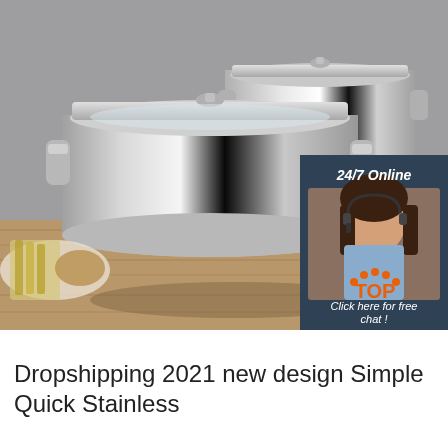[Figure (photo): Product photo of two shiny stainless steel stock pots with glass lids on a wooden surface, with vegetables visible on the left side. An overlay panel on the right shows a customer service representative with headset, text '24/7 Online', 'Click here for free chat!', and an orange QUOTATION button. An orange TOP badge is visible at the bottom right.]
Dropshipping 2021 new design Simple Quick Stainless